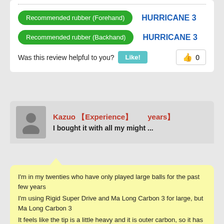Recommended rubber (Forehand)  HURRICANE 3
Recommended rubber (Backhand)  HURRICANE 3
Was this review helpful to you?  Like!  0
Kazuo 【Experience】　　years】 I bought it with all my might ...
I'm in my twenties who have only played large balls for the past few years
I'm using Rigid Super Drive and Ma Long Carbon 3 for large, but Ma Long Carbon 3
It feels like the tip is a little heavy and it is outer carbon, so it has a bend like a wood racket, so it was an impression that I could not hit the ball if I could not swing firmly when driving
The rubber is a new one and it is hard, so I feel that it is well-balanced